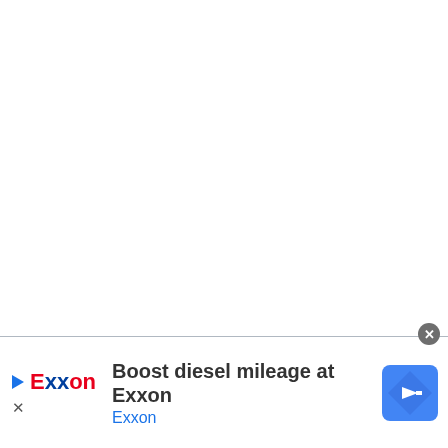[Figure (screenshot): Advertisement banner at bottom of page. Exxon logo on left with a play/location icon and X close button. Main text reads 'Boost diesel mileage at Exxon' with subtext 'Exxon' in blue. A blue diamond navigation arrow icon is on the right. A gray circular close (X) button is at top-right of the banner.]